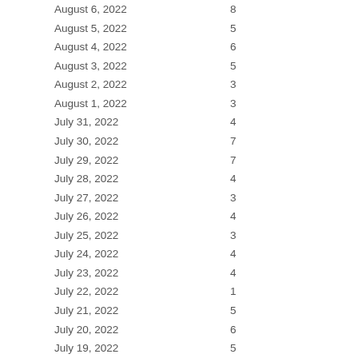| Date | Value |
| --- | --- |
| August 6, 2022 | 8 |
| August 5, 2022 | 5 |
| August 4, 2022 | 6 |
| August 3, 2022 | 5 |
| August 2, 2022 | 3 |
| August 1, 2022 | 3 |
| July 31, 2022 | 4 |
| July 30, 2022 | 7 |
| July 29, 2022 | 7 |
| July 28, 2022 | 4 |
| July 27, 2022 | 3 |
| July 26, 2022 | 4 |
| July 25, 2022 | 3 |
| July 24, 2022 | 4 |
| July 23, 2022 | 4 |
| July 22, 2022 | 1 |
| July 21, 2022 | 5 |
| July 20, 2022 | 6 |
| July 19, 2022 | 5 |
| July 18, 2022 | 5 |
| July 17, 2022 | 3 |
| July 16, 2022 | 6 |
| July 15, 2022 | 7 |